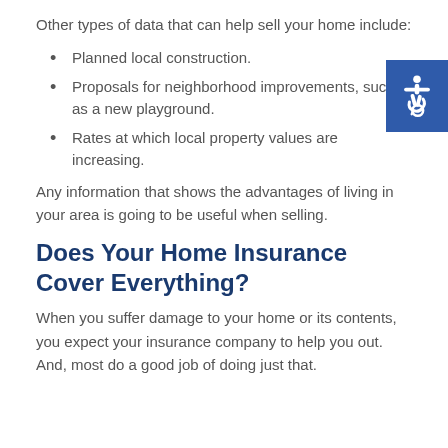Other types of data that can help sell your home include:
Planned local construction.
Proposals for neighborhood improvements, such as a new playground.
Rates at which local property values are increasing.
Any information that shows the advantages of living in your area is going to be useful when selling.
Does Your Home Insurance Cover Everything?
When you suffer damage to your home or its contents, you expect your insurance company to help you out. And, most do a good job of doing just that.